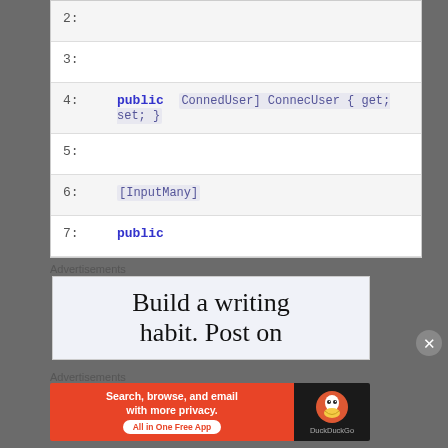2:
3:
4:    public ConnedUser ConnecUser { get; set; }
5:
6:    [InputMany]
7:    public
Advertisements
[Figure (other): Build a writing habit. Post on advertisement banner]
Advertisements
[Figure (other): DuckDuckGo advertisement: Search, browse, and email with more privacy. All in One Free App]